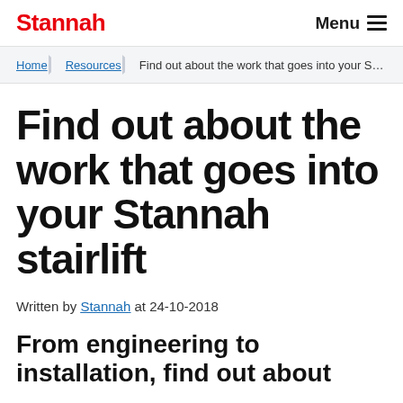Stannah | Menu
Home > Resources > Find out about the work that goes into your S…
Find out about the work that goes into your Stannah stairlift
Written by Stannah at 24-10-2018
From engineering to installation, find out about